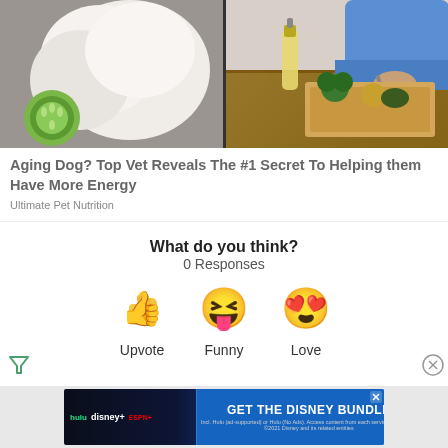[Figure (photo): Split image: left side shows a white fluffy dog with a green cucumber slice on a gray rug background; right side shows a person in blue shirt chopping vegetables on a wooden board with a bottle of olive oil]
Aging Dog? Top Vet Reveals The #1 Secret To Helping them Have More Energy
Ultimate Pet Nutrition
What do you think?
0 Responses
[Figure (infographic): Three emoji reaction buttons: thumbs up (Upvote), laughing face with tongue (Funny), heart eyes face (Love)]
[Figure (photo): Disney Bundle advertisement banner with Hulu, Disney+, and ESPN+ logos and GET THE DISNEY BUNDLE call to action button]